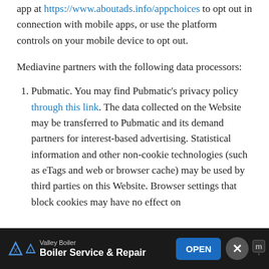app at https://www.aboutads.info/appchoices to opt out in connection with mobile apps, or use the platform controls on your mobile device to opt out.
Mediavine partners with the following data processors:
Pubmatic. You may find Pubmatic's privacy policy through this link. The data collected on the Website may be transferred to Pubmatic and its demand partners for interest-based advertising. Statistical information and other non-cookie technologies (such as eTags and web or browser cache) may be used by third parties on this Website. Browser settings that block cookies may have no effect on
[Figure (other): Advertisement banner for Valley Boiler - Boiler Service & Repair with OPEN button and close controls]